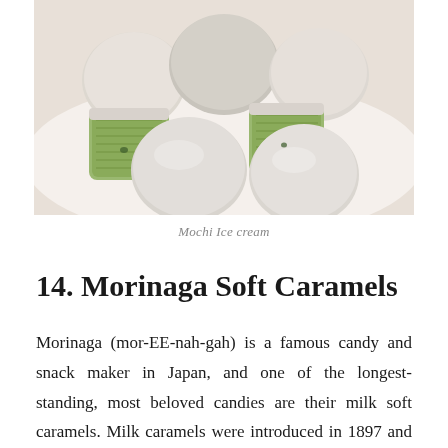[Figure (photo): Photo of mochi ice cream — several round white-dusted mochi balls, with two cut open revealing green (matcha) ice cream filling, arranged on a white surface.]
Mochi Ice cream
14. Morinaga Soft Caramels
Morinaga (mor-EE-nah-gah) is a famous candy and snack maker in Japan, and one of the longest-standing, most beloved candies are their milk soft caramels. Milk caramels were introduced in 1897 and remain a favorite in Japan more than 100 years later.